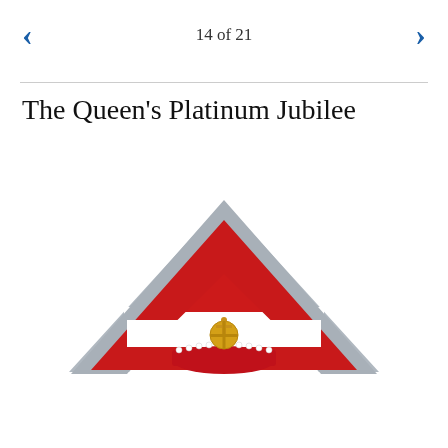14 of 21
The Queen's Platinum Jubilee
[Figure (illustration): Triangular chevron/pennant shape in grey outline with red and white sections inside, bearing a royal crown (St Edward's Crown style) in gold with red details and white pearl-like dots, centered at the base of the triangle.]